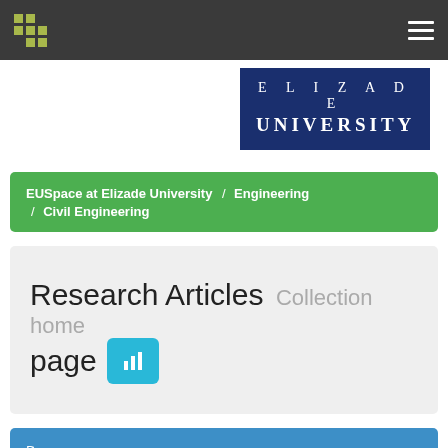[Figure (screenshot): Top navigation bar with dot-grid logo and hamburger menu on dark background]
[Figure (logo): Elizade University logo — dark navy blue rectangle with 'E L I Z A D E' and 'UNIVERSITY' in white serif letters]
EUSpace at Elizade University / Engineering / Civil Engineering
Research Articles Collection home page
Browse